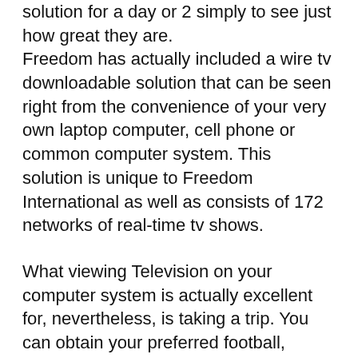solution for a day or 2 simply to see just how great they are. Freedom has actually included a wire tv downloadable solution that can be seen right from the convenience of your very own laptop computer, cell phone or common computer system. This solution is unique to Freedom International as well as consists of 172 networks of real-time tv shows.
What viewing Television on your computer system is actually excellent for, nevertheless, is taking a trip. You can obtain your preferred football, biking, snowboarding, electric motor auto racing or tennis live, on your computer system. Commonly you miss out on these sporting activities in the United state due to minimal